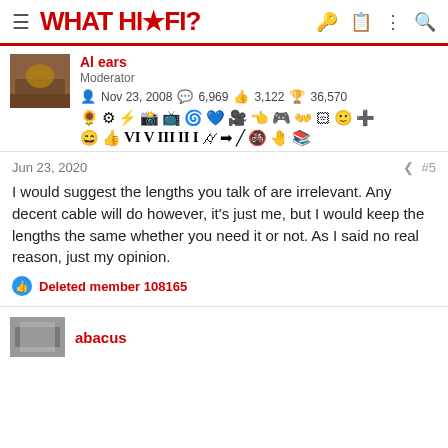WHAT HI·FI?
Al ears
Moderator
Nov 23, 2008  6,969  3,122  36,570
Jun 23, 2020  #5
I would suggest the lengths you talk of are irrelevant. Any decent cable will do however, it's just me, but I would keep the lengths the same whether you need it or not. As I said no real reason, just my opinion.
Deleted member 108165
abacus